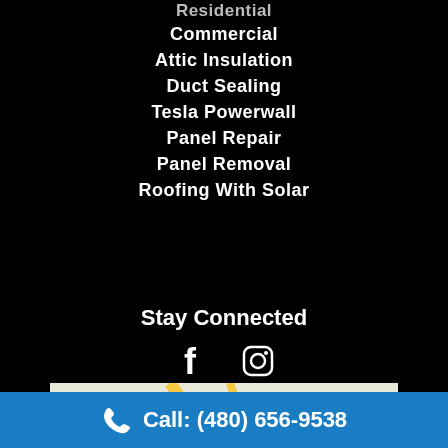Residential
Commercial
Attic Insulation
Duct Sealing
Tesla Powerwall
Panel Repair
Panel Removal
Roofing With Solar
Stay Connected
[Figure (other): Social media icons: Facebook (f) and Instagram]
[Figure (map): Partial Google Maps view showing Phoenix Harbor area, road 202, and Washington St]
Call: (480) 656-9538